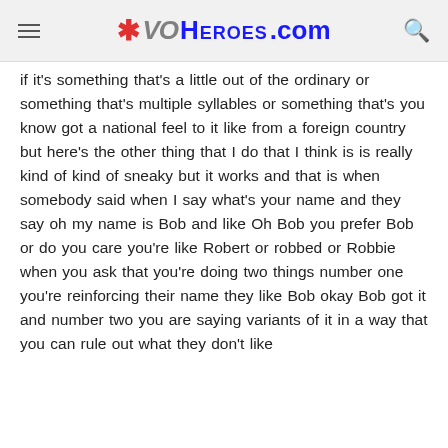VOHeroes.com
if it's something that's a little out of the ordinary or something that's multiple syllables or something that's you know got a national feel to it like from a foreign country but here's the other thing that I do that I think is is really kind of kind of sneaky but it works and that is when somebody said when I say what's your name and they say oh my name is Bob and like Oh Bob you prefer Bob or do you care you're like Robert or robbed or Robbie when you ask that you're doing two things number one you're reinforcing their name they like Bob okay Bob got it and number two you are saying variants of it in a way that you can rule out what they don't like